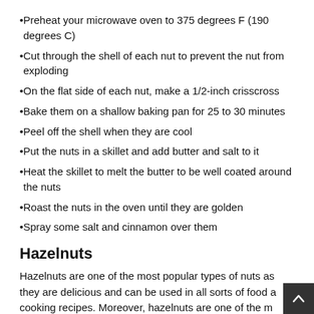Preheat your microwave oven to 375 degrees F (190 degrees C)
Cut through the shell of each nut to prevent the nut from exploding
On the flat side of each nut, make a 1/2-inch crisscross
Bake them on a shallow baking pan for 25 to 30 minutes
Peel off the shell when they are cool
Put the nuts in a skillet and add butter and salt to it
Heat the skillet to melt the butter to be well coated around the nuts
Roast the nuts in the oven until they are golden
Spray some salt and cinnamon over them
Hazelnuts
Hazelnuts are one of the most popular types of nuts as they are delicious and can be used in all sorts of food a cooking recipes. Moreover, hazelnuts are one of the m